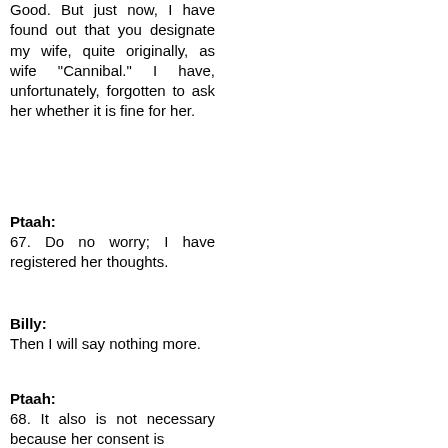Good. But just now, I have found out that you designate my wife, quite originally, as wife "Cannibal." I have, unfortunately, forgotten to ask her whether it is fine for her.
Gut. Vohin habe ich aber festgestellt, dass du meine Frau recht originell betitelst, eben als Frau ‹Kannibal›. Ich habe sie leider vergessen zu fragen, ob es ihr recht ist.
Ptaah:
67. Do no worry; I have registered her thoughts.
Ptaah:
67. Sei unbesorgt, ich habe ihre Gedanken registriert.
Billy:
Then I will say nothing more.
Billy:
Dann sage ich nichts mehr.
Ptaah:
68. It also is not necessary because her consent is
Ptaah:
68. Es ist auch nicht erforderlich, denn das